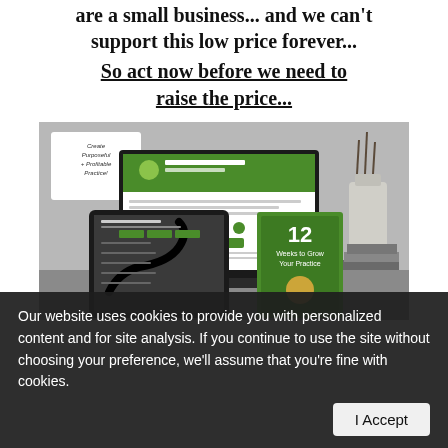are a small business... and we can't support this low price forever...
So act now before we need to raise the price...
[Figure (photo): Product mockup showing a tablet, laptop, and book/ebook with green covers on a desk with a vase and books in the background. The white card reads 'Create Purposeful + Profitable Practice!' The book shows '12 Weeks to Grow Your Practice'.]
Our website uses cookies to provide you with personalized content and for site analysis. If you continue to use the site without choosing your preference, we'll assume that you're fine with cookies.
Personalized Profit First CFO Roadmap